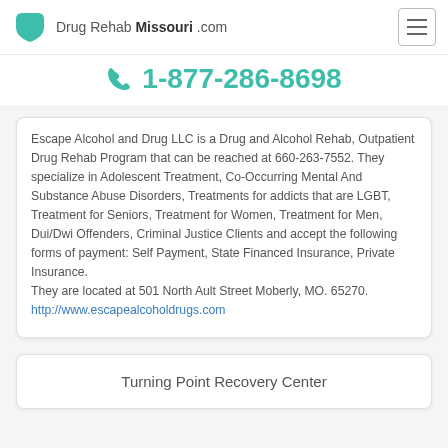Drug Rehab Missouri .com
1-877-286-8698
Escape Alcohol and Drug LLC is a Drug and Alcohol Rehab, Outpatient Drug Rehab Program that can be reached at 660-263-7552. They specialize in Adolescent Treatment, Co-Occurring Mental And Substance Abuse Disorders, Treatments for addicts that are LGBT, Treatment for Seniors, Treatment for Women, Treatment for Men, Dui/Dwi Offenders, Criminal Justice Clients and accept the following forms of payment: Self Payment, State Financed Insurance, Private Insurance.
They are located at 501 North Ault Street Moberly, MO. 65270.
http://www.escapealcoholdrugs.com
Turning Point Recovery Center